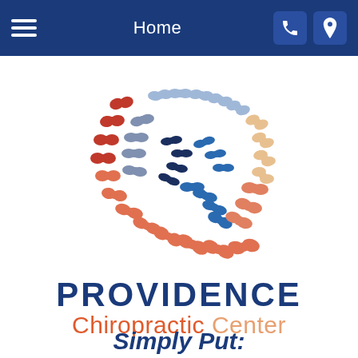Home
[Figure (logo): Providence Chiropractic Center logo — a spiral made of colorful vertebra-shaped icons in red, blue, light blue, orange, and peach, arranged in a circular spiral pattern]
PROVIDENCE Chiropractic Center
Simply Put: